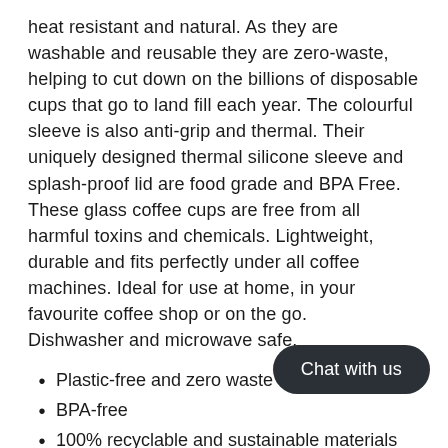heat resistant and natural. As they are washable and reusable they are zero-waste, helping to cut down on the billions of disposable cups that go to land fill each year. The colourful sleeve is also anti-grip and thermal. Their uniquely designed thermal silicone sleeve and splash-proof lid are food grade and BPA Free. These glass coffee cups are free from all harmful toxins and chemicals. Lightweight, durable and fits perfectly under all coffee machines. Ideal for use at home, in your favourite coffee shop or on the go.
Dishwasher and microwave safe.
Plastic-free and zero waste
BPA-free
100% recyclable and sustainable materials
Compact, durable and lightw
Vibrant colours
Reusable
Non-slip